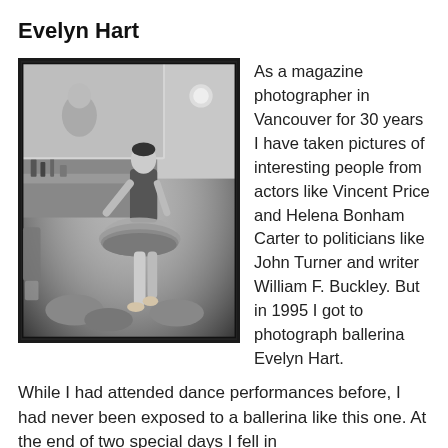Evelyn Hart
[Figure (photo): Black and white photograph of ballerina Evelyn Hart in a dressing room, sitting in a tutu surrounded by flowers and ballet shoes, with a mirror and makeup table visible in the background.]
As a magazine photographer in Vancouver for 30 years I have taken pictures of interesting people from actors like Vincent Price and Helena Bonham Carter to politicians like John Turner and writer William F. Buckley. But in 1995 I got to photograph ballerina Evelyn Hart. While I had attended dance performances before, I had never been exposed to a ballerina like this one. At the end of two special days I fell in